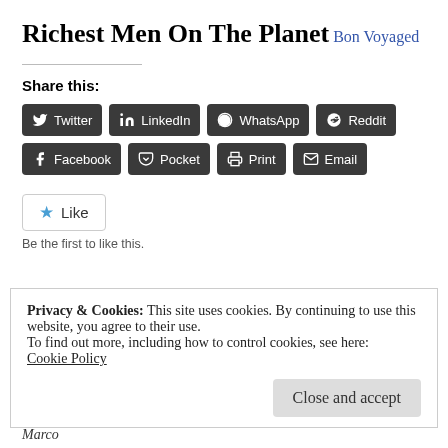Richest Men On The Planet
Bon Voyaged
Share this:
Twitter | LinkedIn | WhatsApp | Reddit | Facebook | Pocket | Print | Email
Like
Be the first to like this.
Privacy & Cookies: This site uses cookies. By continuing to use this website, you agree to their use.
To find out more, including how to control cookies, see here:
Cookie Policy
Close and accept
Marco